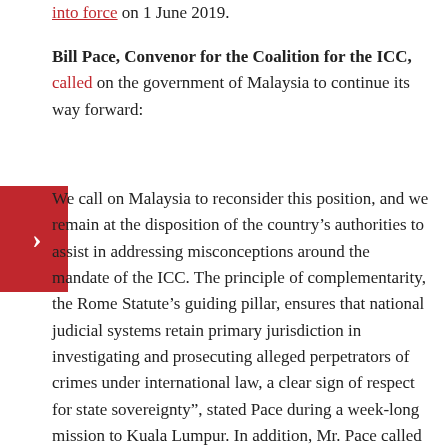into force on 1 June 2019.
Bill Pace, Convenor for the Coalition for the ICC, called on the government of Malaysia to continue its way forward: We call on Malaysia to reconsider this position, and we remain at the disposition of the country's authorities to assist in addressing misconceptions around the mandate of the ICC. The principle of complementarity, the Rome Statute's guiding pillar, ensures that national judicial systems retain primary jurisdiction in investigating and prosecuting alleged perpetrators of crimes under international law, a clear sign of respect for state sovereignty", stated Pace during a week-long mission to Kuala Lumpur. In addition, Mr. Pace called on Malaysia to lead the rest of the region by example, signaling that, in these current times, “No region will have a greater impact on the fate of major challenges confronting the international border than the Asian...